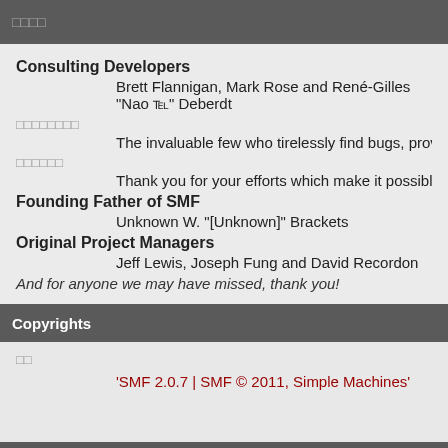□□□□
Consulting Developers
Brett Flannigan, Mark Rose and René-Gilles "Nao ℡" Deberdt
□□□□□□□□
The invaluable few who tirelessly find bugs, provide feedback, and dri
□□□□□□
Thank you for your efforts which make it possible for people all around
Founding Father of SMF
Unknown W. "[Unknown]" Brackets
Original Project Managers
Jeff Lewis, Joseph Fung and David Recordon
And for anyone we may have missed, thank you!
Copyrights
□□
'SMF 2.0.7 | SMF © 2011, Simple Machines'
'SMF 2.0.7 | SMF © 2011, Simple Machines'
XHTML  RSS  WAP2